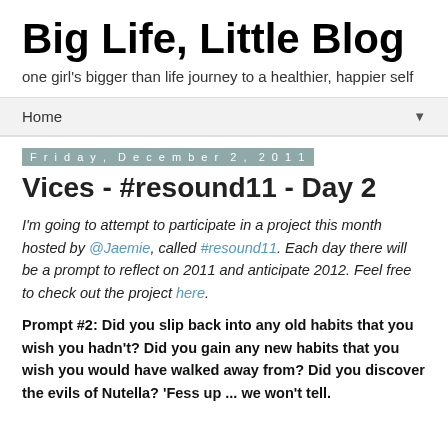Big Life, Little Blog
one girl's bigger than life journey to a healthier, happier self
Home ▼
Friday, December 2, 2011
Vices - #resound11 - Day 2
I'm going to attempt to participate in a project this month hosted by @Jaemie, called #resound11. Each day there will be a prompt to reflect on 2011 and anticipate 2012. Feel free to check out the project here.
Prompt #2: Did you slip back into any old habits that you wish you hadn't? Did you gain any new habits that you wish you would have walked away from? Did you discover the evils of Nutella? 'Fess up ... we won't tell.